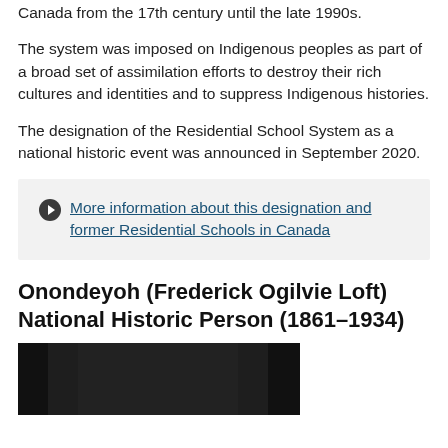Residential Schools for Indigenous children existed in Canada from the 17th century until the late 1990s.
The system was imposed on Indigenous peoples as part of a broad set of assimilation efforts to destroy their rich cultures and identities and to suppress Indigenous histories.
The designation of the Residential School System as a national historic event was announced in September 2020.
More information about this designation and former Residential Schools in Canada
Onondeyoh (Frederick Ogilvie Loft) National Historic Person (1861–1934)
[Figure (photo): Black and white historical photograph, partially visible at bottom of page.]